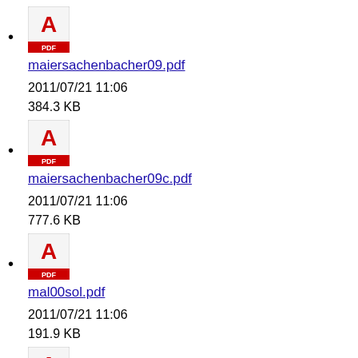maiersachenbacher09.pdf
2011/07/21 11:06
384.3 KB
maiersachenbacher09c.pdf
2011/07/21 11:06
777.6 KB
mal00sol.pdf
2011/07/21 11:06
191.9 KB
maldonado10nomodelgrasping.pdf